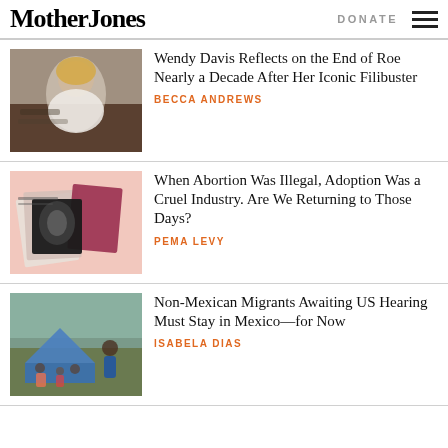Mother Jones | DONATE
[Figure (photo): Photo of Wendy Davis at podium in legislative chamber]
Wendy Davis Reflects on the End of Roe Nearly a Decade After Her Iconic Filibuster
BECCA ANDREWS
[Figure (photo): Pink-background collage with ultrasound images and documents]
When Abortion Was Illegal, Adoption Was a Cruel Industry. Are We Returning to Those Days?
PEMA LEVY
[Figure (photo): Migrants with tents outdoors, families gathered]
Non-Mexican Migrants Awaiting US Hearing Must Stay in Mexico—for Now
ISABELA DIAS